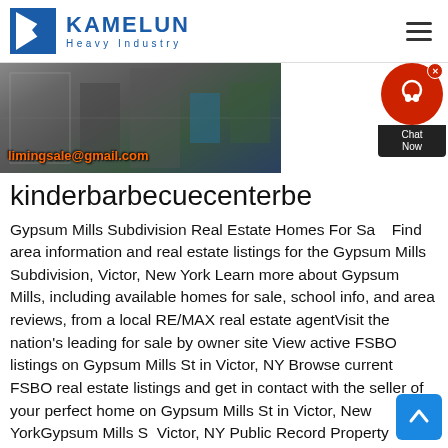[Figure (logo): Kamelun Heavy Industry logo with blue K triangle and company name]
[Figure (photo): Industrial machinery photo with email overlay text limingsale@gmail.com]
kinderbarbecuecenterbe
Gypsum Mills Subdivision Real Estate Homes For Sale Find area information and real estate listings for the Gypsum Mills Subdivision, Victor, New York Learn more about Gypsum Mills, including available homes for sale, school info, and area reviews, from a local RE/MAX real estate agentVisit the nation's leading for sale by owner site View active FSBO listings on Gypsum Mills St in Victor, NY Browse current FSBO real estate listings and get in contact with the seller of your perfect home on Gypsum Mills St in Victor, New YorkGypsum Mills St Victor, NY Public Record Property